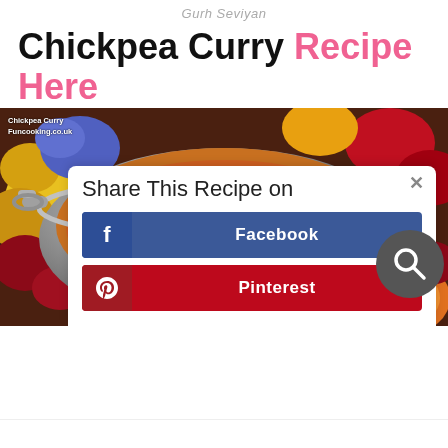Gurh Seviyan
Chickpea Curry Recipe Here
[Figure (photo): A silver karahi/wok dish filled with chickpea curry garnished with fresh coriander and a green chilli, surrounded by colorful flowers on a table.]
Share This Recipe on
Facebook
Pinterest